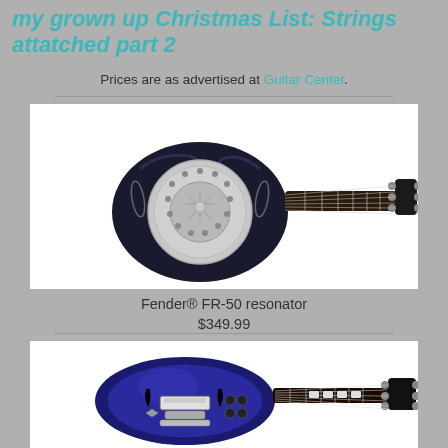my grown up Christmas List: Strings attatched part 2
Prices are as advertised at Guitar Center.
[Figure (photo): Fender FR-50 resonator guitar, black with chrome resonator cone, on white background]
Fender® FR-50 resonator
$349.99
[Figure (photo): Blue semi-hollow electric guitar with chrome hardware, on white background]